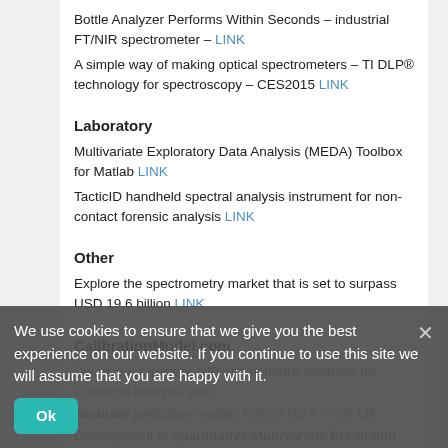Bottle Analyzer Performs Within Seconds – industrial FT/NIR spectrometer – LINK
A simple way of making optical spectrometers – TI DLP® technology for spectroscopy – CES2015 LINK
Laboratory
Multivariate Exploratory Data Analysis (MEDA) Toolbox for Matlab LINK
TacticID handheld spectral analysis instrument for non-contact forensic analysis LINK
Other
Explore the spectrometry market that is set to surpass USD 19.6 billion LINK
CalibrationModel.com
Develop & Optimize NIR chemometric methods for Chemical Analysis with accurate prediction models NIRS AND FT-NIR LINK
Development of quantitative Multivariate Prediction Models for Near Infrared Analyzers | NIRS NIR NIR LINK
Efficient development of new quantitative prediction equations for
We use cookies to ensure that we give you the best experience on our website. If you continue to use this site we will assume that you are happy with it. [Ok] [×]